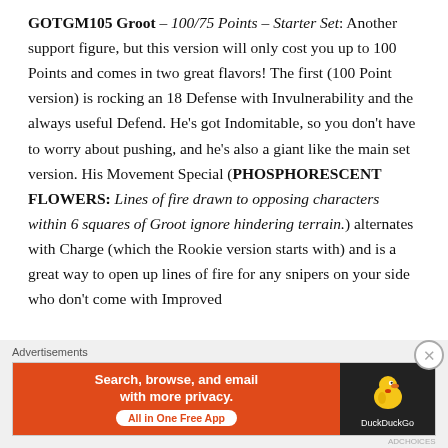GOTGM105 Groot – 100/75 Points – Starter Set: Another support figure, but this version will only cost you up to 100 Points and comes in two great flavors! The first (100 Point version) is rocking an 18 Defense with Invulnerability and the always useful Defend. He's got Indomitable, so you don't have to worry about pushing, and he's also a giant like the main set version. His Movement Special (PHOSPHORESCENT FLOWERS: Lines of fire drawn to opposing characters within 6 squares of Groot ignore hindering terrain.) alternates with Charge (which the Rookie version starts with) and is a great way to open up lines of fire for any snipers on your side who don't come with Improved
[Figure (infographic): DuckDuckGo advertisement banner: orange left panel with text 'Search, browse, and email with more privacy. All in One Free App', dark right panel with DuckDuckGo duck logo and brand name.]